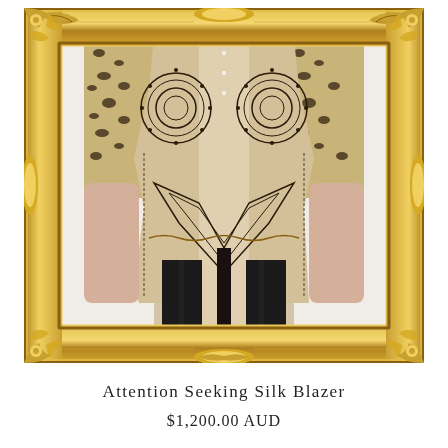[Figure (photo): A person wearing an ornate patterned silk blazer with leopard print sleeves and black leather pants, displayed inside a large gold ornate baroque-style mirror frame against a white background.]
Attention Seeking Silk Blazer
$1,200.00 AUD